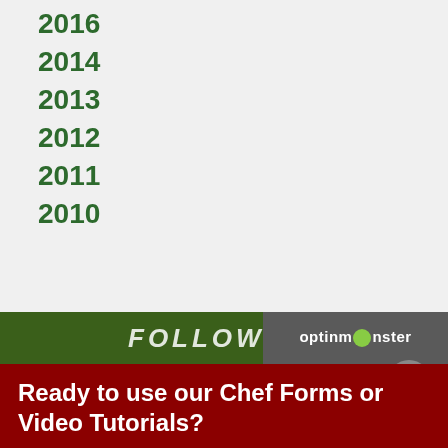2016
2014
2013
2012
2011
2010
[Figure (screenshot): Green navigation banner with text FOLLOW US and OptinMonster logo badge with close button]
Ready to use our Chef Forms or Video Tutorials?
Choose your Subscription level to access our exclusive content for Chefs.
YES, TELL ME MORE!